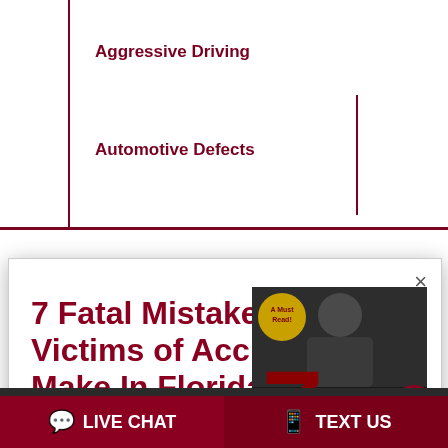Aggressive Driving
Automotive Defects
7 Fatal Mistakes Victims of Accidents Make In Florida
And How To Avoid Making Them
[Figure (photo): Book cover: 7 Fatal Mistakes Victims of Accidents Make in FL by Frank M. Eidson]
We use cookies to ensure that we give you the best experience on our website. If you continue to use this site we will assume that you are happy with it.
LIVE CHAT
TEXT US